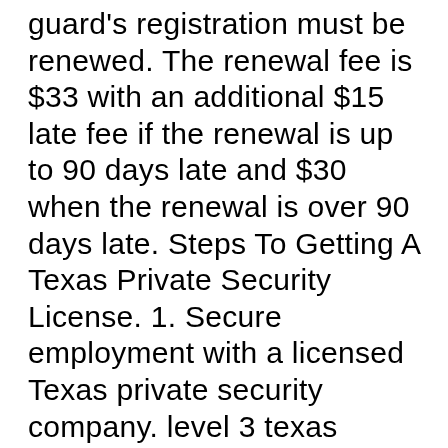guard's registration must be renewed. The renewal fee is $33 with an additional $15 late fee if the renewal is up to 90 days late and $30 when the renewal is over 90 days late. Steps To Getting A Texas Private Security License. 1. Secure employment with a licensed Texas private security company. level 3 texas security gaurd manual Texas Commissioned Level 3 Security Officer Training Armed Texas Commissioned Level 3 Security Officer The state has a standardized security guard texas security guard training Career Profiles. In the Lone Star State of Texas, there is a wealth of opportunity and wide range roles of a security guard can